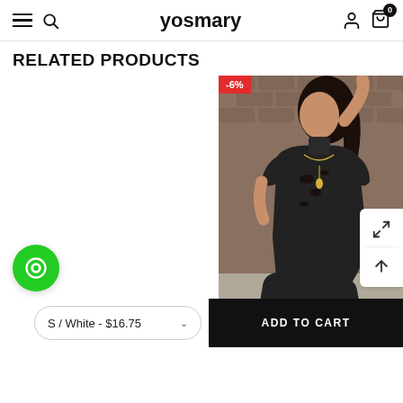yosmary
RELATED PRODUCTS
[Figure (photo): Woman wearing a black ripped/distressed form-fitting jumpsuit with mock neck and short sleeves, posing against a brick wall background. A -6% sale badge appears in the top-left corner of the image.]
S / White - $16.75
ADD TO CART